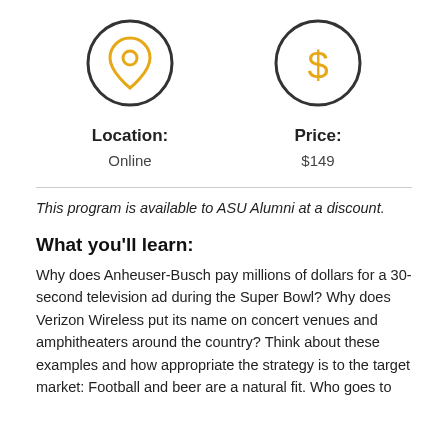[Figure (infographic): Two circular icons side by side: a location pin icon on the left and a dollar sign icon on the right, both with orange/yellow outlines on white background with dark circle borders.]
Location:
Price:
Online
$149
This program is available to ASU Alumni at a discount.
What you'll learn:
Why does Anheuser-Busch pay millions of dollars for a 30-second television ad during the Super Bowl? Why does Verizon Wireless put its name on concert venues and amphitheaters around the country? Think about these examples and how appropriate the strategy is to the target market: Football and beer are a natural fit. Who goes to